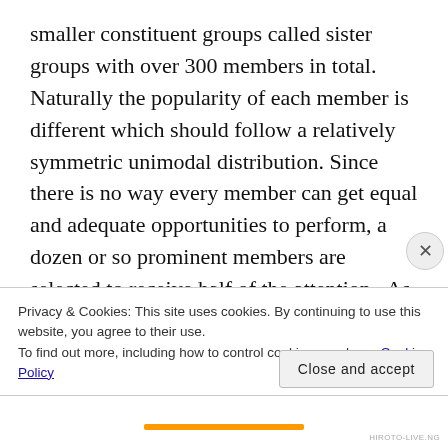smaller constituent groups called sister groups with over 300 members in total. Naturally the popularity of each member is different which should follow a relatively symmetric unimodal distribution. Since there is no way every member can get equal and adequate opportunities to perform, a dozen or so prominent members are selected to receive half of the attention.  As the histogram below shows, however, the popularity distribution (measured by number of followers on Showroom) is very right skewed due to at
Privacy & Cookies: This site uses cookies. By continuing to use this website, you agree to their use.
To find out more, including how to control cookies, see here: Cookie Policy